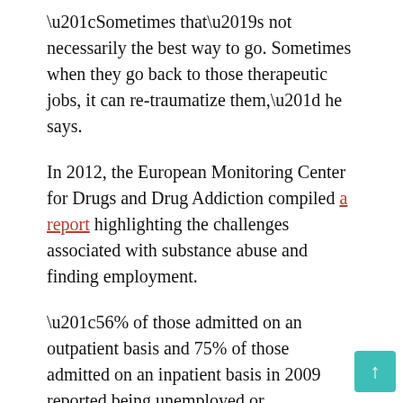“Sometimes that’s not necessarily the best way to go. Sometimes when they go back to those therapeutic jobs, it can re-traumatize them,” he says.
In 2012, the European Monitoring Center for Drugs and Drug Addiction compiled a report highlighting the challenges associated with substance abuse and finding employment.
“56% of those admitted on an outpatient basis and 75% of those admitted on an inpatient basis in 2009 reported being unemployed or economically inactive,” the report states.
He goes on to say that people with addictions are more likely to lose their jobs and less likely to